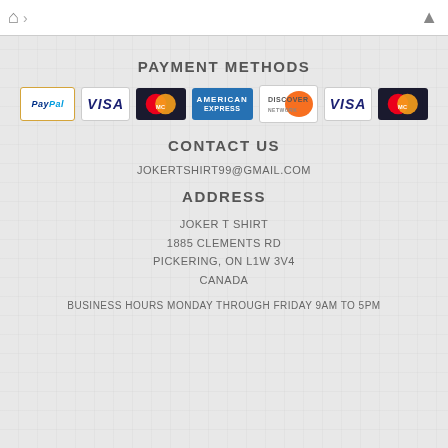Navigation bar with home icon and up arrow
PAYMENT METHODS
[Figure (infographic): Payment method logos: PayPal, VISA, MasterCard, American Express, Discover, VISA, MasterCard]
CONTACT US
JOKERTSHIRT99@GMAIL.COM
ADDRESS
JOKER T SHIRT
1885 CLEMENTS RD
PICKERING, ON L1W 3V4
CANADA
BUSINESS HOURS MONDAY THROUGH FRIDAY 9AM TO 5PM